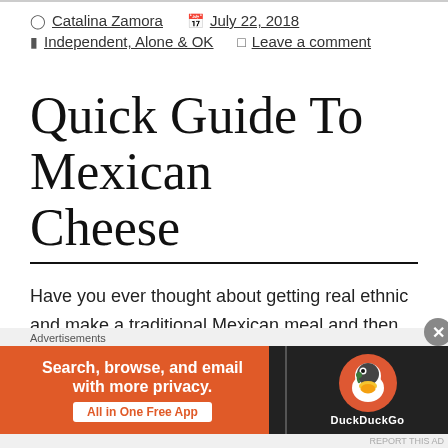Catalina Zamora  |  July 22, 2018  |  Independent, Alone & OK  |  Leave a comment
Quick Guide To Mexican Cheese
Have you ever thought about getting real ethnic and make a traditional Mexican meal and then you get to the Mexican cheese section and your head starts spinning; Queso Fresco, Panela, Oaxaca, Cotijo... You just figured out
[Figure (infographic): DuckDuckGo advertisement banner: orange and dark background with text 'Search, browse, and email with more privacy. All in One Free App' and DuckDuckGo duck logo]
Advertisements